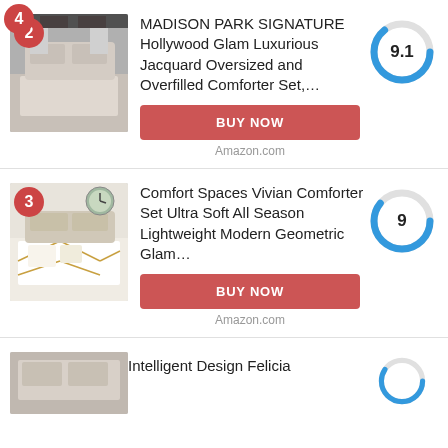[Figure (other): Product listing card #2: MADISON PARK SIGNATURE Hollywood Glam Luxurious Jacquard Oversized and Overfilled Comforter Set with score 9.1 donut chart, BUY NOW button, Amazon.com label]
[Figure (other): Product listing card #3: Comfort Spaces Vivian Comforter Set Ultra Soft All Season Lightweight Modern Geometric Glam... with score 9 donut chart, BUY NOW button, Amazon.com label]
[Figure (other): Product listing card #4 (partial): Intelligent Design Felicia with partial donut chart visible]